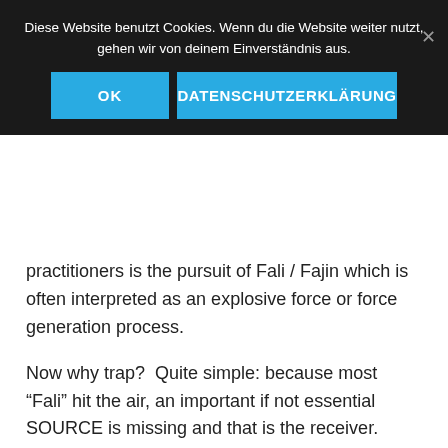Diese Website benutzt Cookies. Wenn du die Website weiter nutzt, gehen wir von deinem Einverständnis aus.
OK   DATENSCHUTZERKLÄRUNG
practitioners is the pursuit of Fali / Fajin which is often interpreted as an explosive force or force generation process.
Now why trap?  Quite simple: because most “Fali” hit the air, an important if not essential SOURCE is missing and that is the receiver.
Without the receiver the focus is on the generation of “force” which is based on an accelerated rotation of the body axes (mostly via the pelvis and the shoulders) to set mass in motion and at the end of the